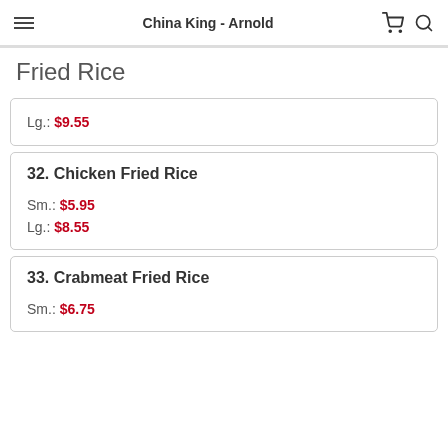China King - Arnold
Fried Rice
Lg.: $9.55
32. Chicken Fried Rice
Sm.: $5.95
Lg.: $8.55
33. Crabmeat Fried Rice
Sm.: $6.75